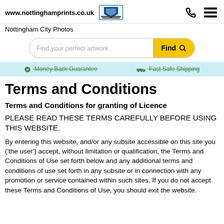www.nottinghamprints.co.uk  [Nottingham City Council logo]
Nottingham City Photos
[Figure (screenshot): Search bar with placeholder 'Find your perfect artwork' and yellow 'Find' button with magnifier icon]
Money Back Guarantee  Fast Safe Shipping
Terms and Conditions
Terms and Conditions for granting of Licence
PLEASE READ THESE TERMS CAREFULLY BEFORE USING THIS WEBSITE.
By entering this website, and/or any subsite accessible on this site you ('the user') accept, without limitation or qualification, the Terms and Conditions of Use set forth below and any additional terms and conditions of use set forth in any subsite or in connection with any promotion or service contained within such sites. If you do not accept these Terms and Conditions of Use, you should exit the website.